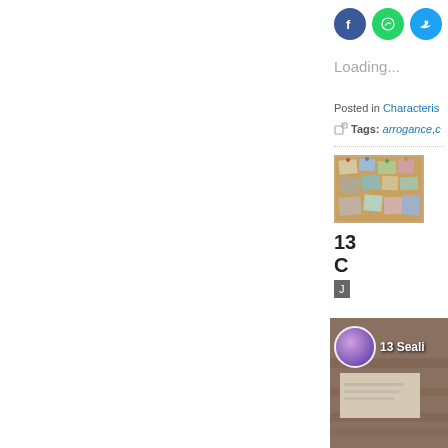[Figure (screenshot): Social share icons: Facebook (blue), WhatsApp (green), Twitter (blue), and a partially visible fourth icon]
Loading...
Posted in Characteris...
Tags: arrogance, c...
[Figure (photo): Thumbnail of a bulletin board with various photos pinned to it]
13... C...
J...
[Figure (screenshot): Video thumbnail showing '13 Seali...' with a purple avatar circle on a wooden background]